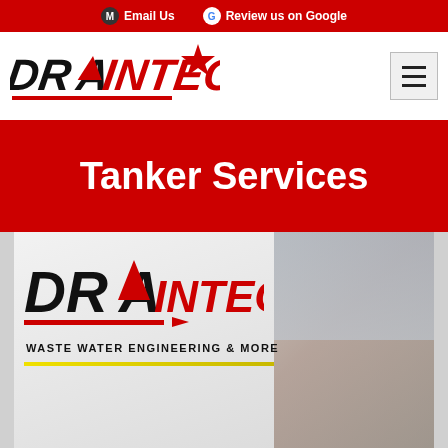Email Us   Review us on Google
[Figure (logo): DrainTech logo with red star]
Tanker Services
[Figure (photo): DrainTech Waste Water Engineering vehicle with DrainTech logo on side, parked near residential property]